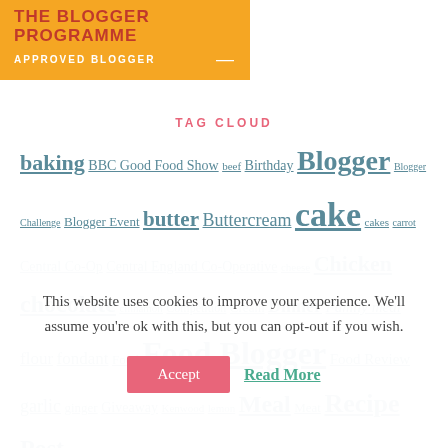[Figure (logo): The Blogger Programme Approved Blogger badge on orange background]
TAG CLOUD
baking BBC Good Food Show beef Birthday Blogger Blogger Challenge Blogger Event butter Buttercream cake cakes carrot Central Co-Op Central England Co-Operative cheese Chicken chocolate cinnamon Competition Cream Dinner Family meal flour fondant Food Food Blogger Food Review garlic ginger Giveaway Kenwood lemon Meal Meat Recipe Post
This website uses cookies to improve your experience. We'll assume you're ok with this, but you can opt-out if you wish.
Accept  Read More